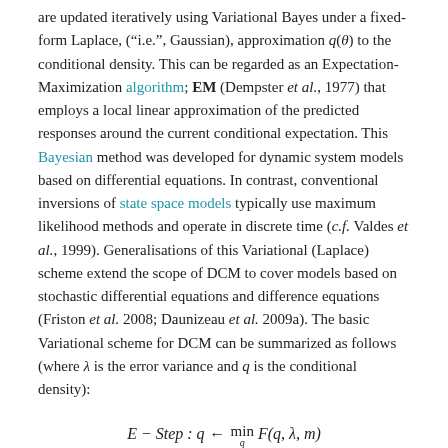are updated iteratively using Variational Bayes under a fixed-form Laplace, ("i.e.", Gaussian), approximation q(θ) to the conditional density. This can be regarded as an Expectation-Maximization algorithm; EM (Dempster et al., 1977) that employs a local linear approximation of the predicted responses around the current conditional expectation. This Bayesian method was developed for dynamic system models based on differential equations. In contrast, conventional inversions of state space models typically use maximum likelihood methods and operate in discrete time (c.f. Valdes et al., 1999). Generalisations of this Variational (Laplace) scheme extend the scope of DCM to cover models based on stochastic differential equations and difference equations (Friston et al. 2008; Daunizeau et al. 2009a). The basic Variational scheme for DCM can be summarized as follows (where λ is the error variance and q is the conditional density):